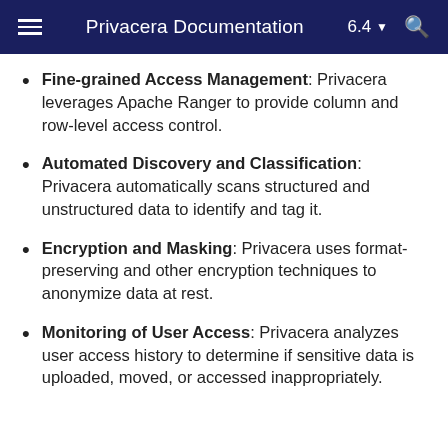Privacera Documentation 6.4
Fine-grained Access Management: Privacera leverages Apache Ranger to provide column and row-level access control.
Automated Discovery and Classification: Privacera automatically scans structured and unstructured data to identify and tag it.
Encryption and Masking: Privacera uses format-preserving and other encryption techniques to anonymize data at rest.
Monitoring of User Access: Privacera analyzes user access history to determine if sensitive data is uploaded, moved, or accessed inappropriately.